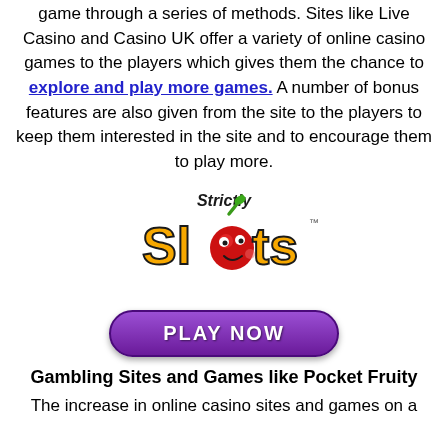game through a series of methods. Sites like Live Casino and Casino UK offer a variety of online casino games to the players which gives them the chance to explore and play more games. A number of bonus features are also given from the site to the players to keep them interested in the site and to encourage them to play more.
[Figure (logo): Strictly Slots logo — orange cartoon text 'Slots' with a cherry character replacing the 'o', and 'Strictly' written above in black cursive]
[Figure (other): Purple 'PLAY NOW' button with rounded corners]
Gambling Sites and Games like Pocket Fruity
The increase in online casino sites and games on a